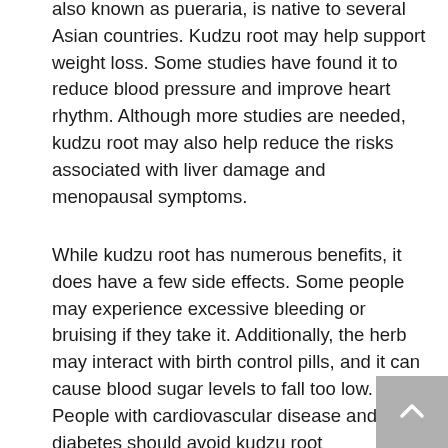also known as pueraria, is native to several Asian countries. Kudzu root may help support weight loss. Some studies have found it to reduce blood pressure and improve heart rhythm. Although more studies are needed, kudzu root may also help reduce the risks associated with liver damage and menopausal symptoms.
While kudzu root has numerous benefits, it does have a few side effects. Some people may experience excessive bleeding or bruising if they take it. Additionally, the herb may interact with birth control pills, and it can cause blood sugar levels to fall too low. People with cardiovascular disease and diabetes should avoid kudzu root supplements. For these reasons, it is important to discuss kudzu root use with your healthcare provider.